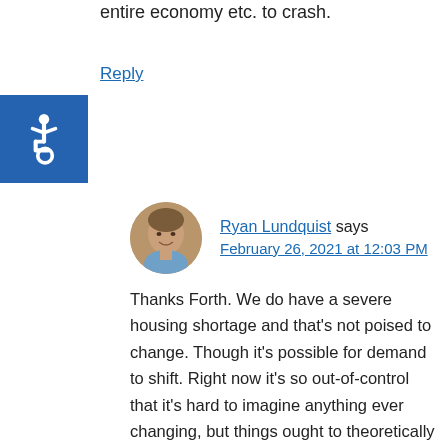entire economy etc. to crash.
Reply
[Figure (photo): Round avatar photo of Ryan Lundquist, a man in a blue shirt]
Ryan Lundquist says
February 26, 2021 at 12:03 PM
Thanks Forth. We do have a severe housing shortage and that's not poised to change. Though it's possible for demand to shift. Right now it's so out-of-control that it's hard to imagine anything ever changing, but things ought to theoretically feel at least a little different with rate hikes and getting through the pandemic. Ultimately we are in a very difficult position and there is no easy answer for us in terms of getting more inventory. Though I will say the market